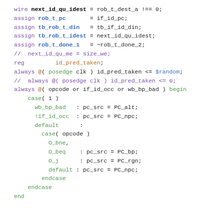[Figure (other): Verilog hardware description language (HDL) code snippet showing wire declarations, assign statements, register declarations, always blocks with case statements for PC source selection logic.]